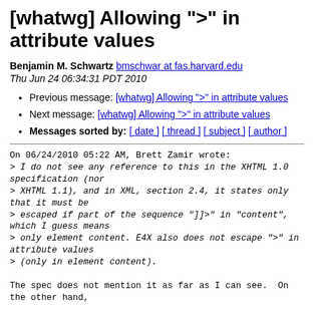[whatwg] Allowing ">" in attribute values
Benjamin M. Schwartz bmschwar at fas.harvard.edu
Thu Jun 24 06:34:31 PDT 2010
Previous message: [whatwg] Allowing ">" in attribute values
Next message: [whatwg] Allowing ">" in attribute values
Messages sorted by: [ date ] [ thread ] [ subject ] [ author ]
On 06/24/2010 05:22 AM, Brett Zamir wrote:
> I do not see any reference to this in the XHTML 1.0 specification (nor
> XHTML 1.1), and in XML, section 2.4, it states only that it must be
> escaped if part of the sequence "]]>" in "content", which I guess means
> only element content. E4X also does not escape ">" in attribute values
> (only in element content).

The spec does not mention it as far as I can see.  On
the other hand,